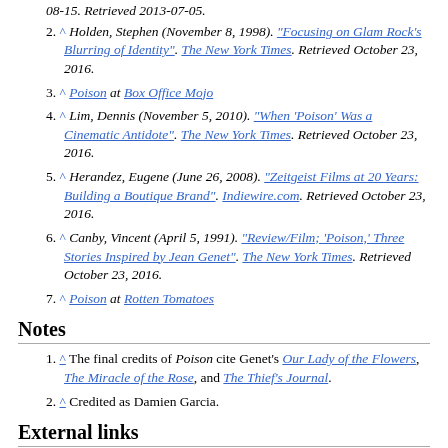08-15. Retrieved 2013-07-05.
2. ^ Holden, Stephen (November 8, 1998). "Focusing on Glam Rock's Blurring of Identity". The New York Times. Retrieved October 23, 2016.
3. ^ Poison at Box Office Mojo
4. ^ Lim, Dennis (November 5, 2010). "When 'Poison' Was a Cinematic Antidote". The New York Times. Retrieved October 23, 2016.
5. ^ Herandez, Eugene (June 26, 2008). "Zeitgeist Films at 20 Years: Building a Boutique Brand". Indiewire.com. Retrieved October 23, 2016.
6. ^ Canby, Vincent (April 5, 1991). "Review/Film; 'Poison,' Three Stories Inspired by Jean Genet". The New York Times. Retrieved October 23, 2016.
7. ^ Poison at Rotten Tomatoes
Notes
1. ^ The final credits of Poison cite Genet's Our Lady of the Flowers, The Miracle of the Rose, and The Thief's Journal.
2. ^ Credited as Damien Garcia.
External links